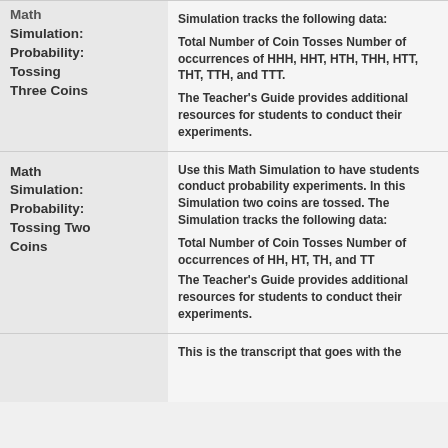Math Simulation: Probability: Tossing Three Coins
Simulation tracks the following data: Total Number of Coin Tosses Number of occurrences of HHH, HHT, HTH, THH, HTT, THT, TTH, and TTT. The Teacher's Guide provides additional resources for students to conduct their experiments.
Math Simulation: Probability: Tossing Two Coins
Use this Math Simulation to have students conduct probability experiments. In this Simulation two coins are tossed. The Simulation tracks the following data: Total Number of Coin Tosses Number of occurrences of HH, HT, TH, and TT The Teacher's Guide provides additional resources for students to conduct their experiments.
This is the transcript that goes with the